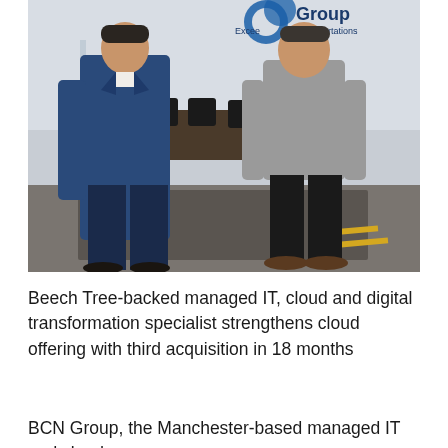[Figure (photo): Two men standing in a modern office space in front of a glass wall with the BCN Group logo visible. One man on the left wears a blue suit, the other on the right wears a grey top and black trousers.]
Beech Tree-backed managed IT, cloud and digital transformation specialist strengthens cloud offering with third acquisition in 18 months
BCN Group, the Manchester-based managed IT and cloud...